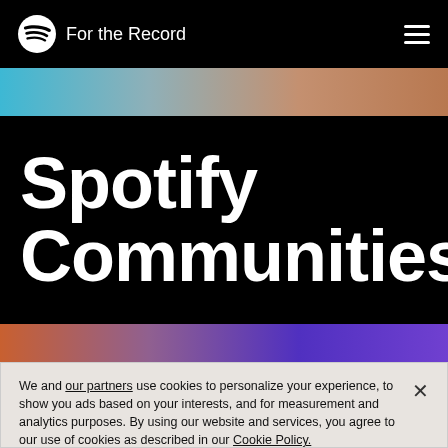For the Record
[Figure (illustration): Horizontal gradient bar transitioning from blue on the left to teal to orange-brown on the right]
Spotify Communities
[Figure (illustration): Horizontal gradient bar transitioning from orange on the left to purple to dark blue-purple on the right]
We and our partners use cookies to personalize your experience, to show you ads based on your interests, and for measurement and analytics purposes. By using our website and services, you agree to our use of cookies as described in our Cookie Policy.